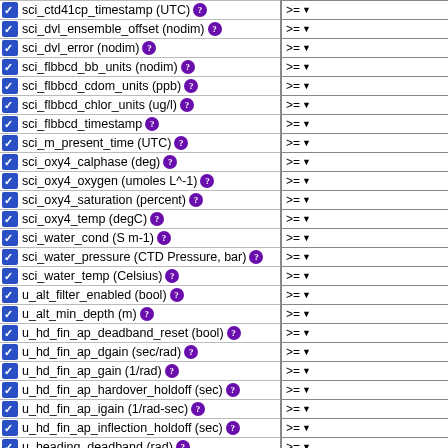sci_ctd41cp_timestamp (UTC) ?
sci_dvl_ensemble_offset (nodim) ?
sci_dvl_error (nodim) ?
sci_flbbcd_bb_units (nodim) ?
sci_flbbcd_cdom_units (ppb) ?
sci_flbbcd_chlor_units (ug/l) ?
sci_flbbcd_timestamp ?
sci_m_present_time (UTC) ?
sci_oxy4_calphase (deg) ?
sci_oxy4_oxygen (umoles L^-1) ?
sci_oxy4_saturation (percent) ?
sci_oxy4_temp (degC) ?
sci_water_cond (S m-1) ?
sci_water_pressure (CTD Pressure, bar) ?
sci_water_temp (Celsius) ?
u_alt_filter_enabled (bool) ?
u_alt_min_depth (m) ?
u_hd_fin_ap_deadband_reset (bool) ?
u_hd_fin_ap_dgain (sec/rad) ?
u_hd_fin_ap_gain (1/rad) ?
u_hd_fin_ap_hardover_holdoff (sec) ?
u_hd_fin_ap_igain (1/rad-sec) ?
u_hd_fin_ap_inflection_holdoff (sec) ?
u_heading_deadband (rad) ?